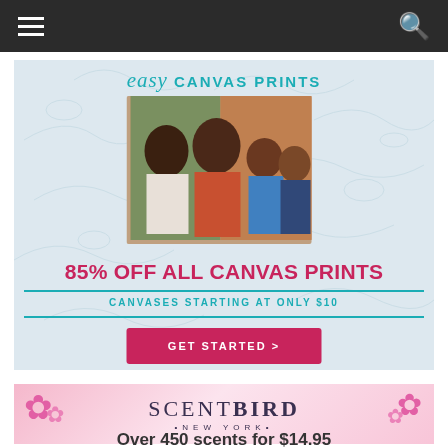Navigation bar with hamburger menu and search icon
[Figure (infographic): Easy Canvas Prints advertisement: 85% OFF ALL CANVAS PRINTS, Canvases starting at only $10, GET STARTED > button, with family photo on canvas]
[Figure (logo): SCENTBIRD NEW YORK advertisement banner with pink flowers]